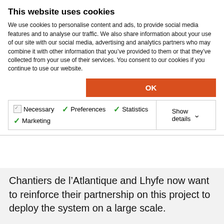This website uses cookies
We use cookies to personalise content and ads, to provide social media features and to analyse our traffic. We also share information about your use of our site with our social media, advertising and analytics partners who may combine it with other information that you've provided to them or that they've collected from your use of their services. You consent to our cookies if you continue to use our website.
OK
Necessary  Preferences  Statistics  Marketing  Show details
Chantiers de l'Atlantique and Lhyfe now want to reinforce their partnership on this project to deploy the system on a large scale.
“The signing of this agreement is the concrete materialization of a successful collaboration between two companies with a desire to play a full role in energy transition. We are now in a